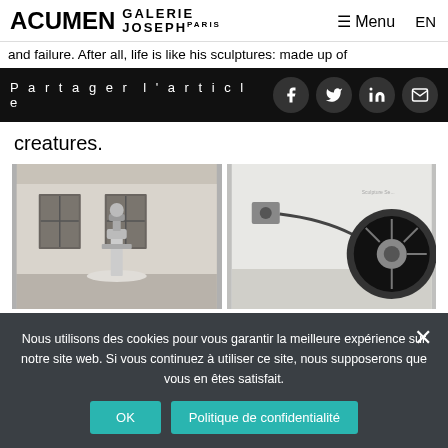ACUMEN GALERIE JOSEPH PARIS — Menu | EN
and failure. After all, life is like his sculptures: made up of
Partager l'article
creatures.
[Figure (photo): Sculpture installation in a white room with two shuttered windows in the background]
[Figure (photo): Sculpture with a cable attached to a wall and a large wheel/tire on a white gallery floor]
Nous utilisons des cookies pour vous garantir la meilleure expérience sur notre site web. Si vous continuez à utiliser ce site, nous supposerons que vous en êtes satisfait.
OK
Politique de confidentialité